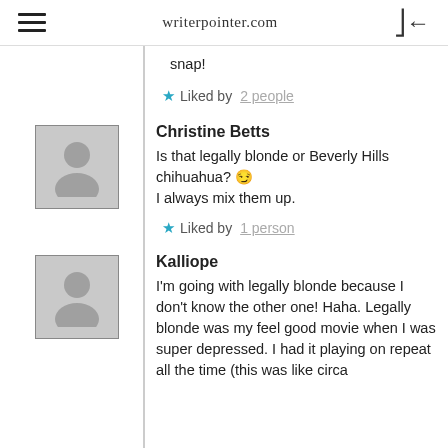writerpointer.com
snap!
Liked by 2 people
Christine Betts
Is that legally blonde or Beverly Hills chihuahua? 😉 I always mix them up.
Liked by 1 person
Kalliope
I'm going with legally blonde because I don't know the other one! Haha. Legally blonde was my feel good movie when I was super depressed. I had it playing on repeat all the time (this was like circa